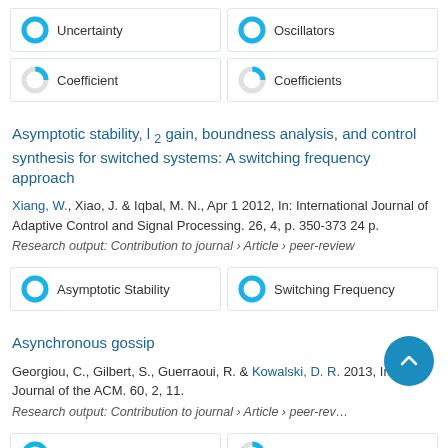100% Uncertainty
100% Oscillators
25% Coefficient
25% Coefficients
Asymptotic stability, l 2 gain, boundness analysis, and control synthesis for switched systems: A switching frequency approach
Xiang, W., Xiao, J. & Iqbal, M. N., Apr 1 2012, In: International Journal of Adaptive Control and Signal Processing. 26, 4, p. 350-373 24 p.
Research output: Contribution to journal › Article › peer-review
100% Asymptotic Stability
100% Switching Frequency
Asynchronous gossip
Georgiou, C., Gilbert, S., Guerraoui, R. & Kowalski, D. R. 2013, In: Journal of the ACM. 60, 2, 11.
Research output: Contribution to journal › Article › peer-review
Message Passing
Parallel Algorithms